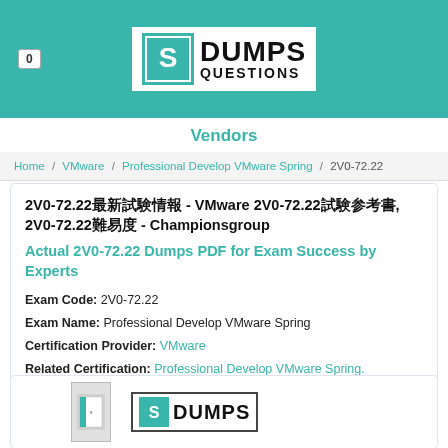[Figure (logo): DumpsQuestions logo with teal header bar and cart badge showing 0]
Vendors
Home / VMware / Professional Develop VMware Spring / 2V0-72.22
2V0-72.22最新試験情報 - VMware 2V0-72.22試験参考書, 2V0-72.22難易度 - Championsgroup
Actual 2V0-72.22 Dumps PDF for Exam Success by Experts
Exam Code: 2V0-72.22
Exam Name: Professional Develop VMware Spring
Certification Provider: VMware
Related Certification: Professional Develop VMware Spring.
[Figure (logo): DumpsQuestions product image at bottom, partially visible]